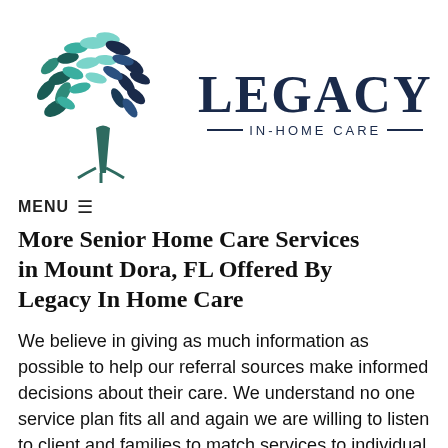[Figure (logo): Legacy In-Home Care logo: a stylized tree with teal and blue-green leaves on the left, and the text 'LEGACY' in large bold dark navy letters with 'IN-HOME CARE' in smaller spaced letters below, flanked by horizontal lines.]
MENU ≡
More Senior Home Care Services in Mount Dora, FL Offered By Legacy In Home Care
We believe in giving as much information as possible to help our referral sources make informed decisions about their care. We understand no one service plan fits all and again we are willing to listen to client and families to match services to individual needs. We will try to be innovative, create